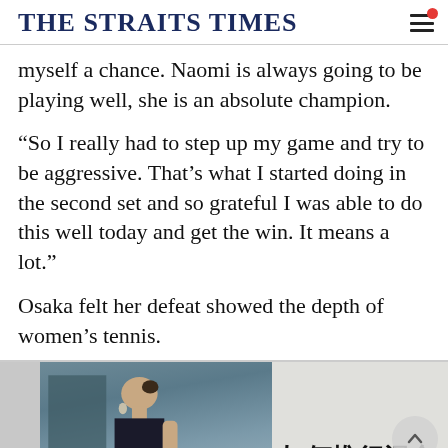THE STRAITS TIMES
myself a chance. Naomi is always going to be playing well, she is an absolute champion.
“So I really had to step up my game and try to be aggressive. That’s what I started doing in the second set and so grateful I was able to do this well today and get the win. It means a lot.”
Osaka felt her defeat showed the depth of women’s tennis.
[Figure (photo): Advertisement banner with a woman in an image and Chinese text overlay reading 如何推行混合 and partial second line]